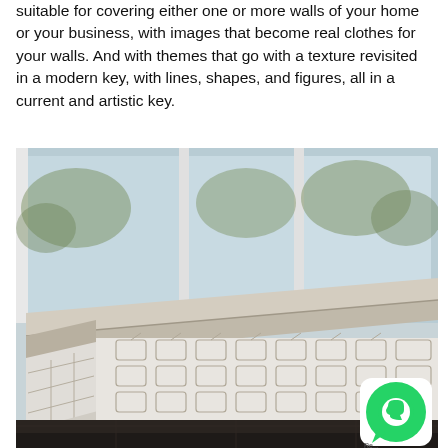suitable for covering either one or more walls of your home or your business, with images that become real clothes for your walls. And with themes that go with a texture revisited in a modern key, with lines, shapes, and figures, all in a current and artistic key.
[Figure (photo): Interior room photo showing a corner bench/ledge with geometric octagonal wallpaper in light grey/white on the lower walls, large windows overlooking greenery, wooden/laminate surface on the bench, and dark floor. A WhatsApp icon badge is visible in the bottom-right corner.]